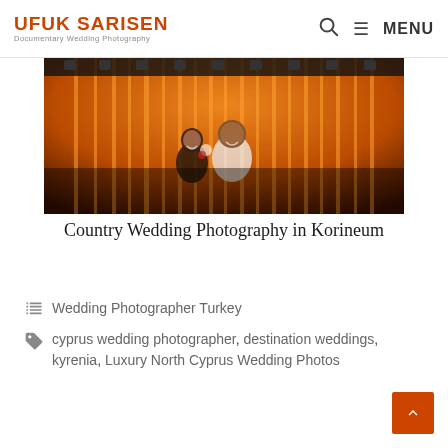UFUK SARISEN Documentary Wedding Photography — MENU
[Figure (photo): Wedding couple smiling on a stage with dramatic orange/amber curtain lighting and stage rigging above. The woman wears a white dress with floral details, the man wears a white shirt.]
Country Wedding Photography in Korineum
Wedding Photographer Turkey
cyprus wedding photographer, destination weddings, kyrenia, Luxury North Cyprus Wedding Photos